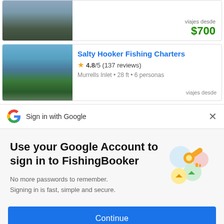[Figure (screenshot): Boat listing card 1 with price $700]
viajes desde
$700
[Figure (screenshot): Boat listing card 2 - Salty Hooker Fishing Charters]
Salty Hooker Fishing Charters
4.8/5 (137 reviews)
Murrells Inlet • 28 ft • 6 personas
viajes desde
Sign in with Google
Use your Google Account to sign in to FishingBooker
No more passwords to remember.
Signing in is fast, simple and secure.
Continue